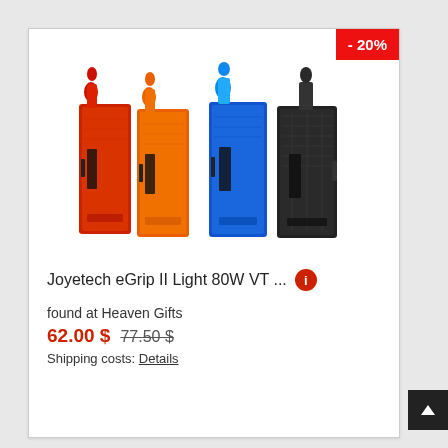- 20%
[Figure (photo): Four Joyetech eGrip II Light 80W VT vape devices in red, orange, blue, and black colors, displayed side by side]
Joyetech eGrip II Light 80W VT ...
found at Heaven Gifts
62.00 $ 77.50 $
Shipping costs: Details